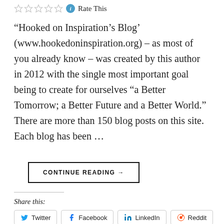[Figure (other): Star rating row with 5 empty stars, an info icon, and 'Rate This' text]
“Hooked on Inspiration’s Blog’ (www.hookedoninspiration.org) – as most of you already know – was created by this author in 2012 with the single most important goal being to create for ourselves “a Better Tomorrow; a Better Future and a Better World.” There are more than 150 blog posts on this site. Each blog has been …
CONTINUE READING →
Share this:
Twitter
Facebook
LinkedIn
Reddit